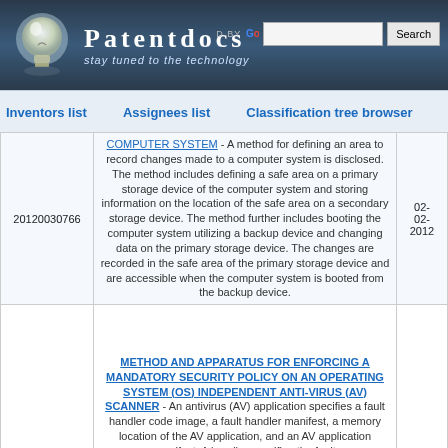Patentdocs — stay tuned to the technology
Inventors list   Assignees list   Classification tree browser
| Application No. | Title / Description | Date |
| --- | --- | --- |
| 20120030766 | COMPUTER SYSTEM - A method for defining an area to record changes made to a computer system is disclosed. The method includes defining a safe area on a primary storage device of the computer system and storing information on the location of the safe area on a secondary storage device. The method further includes booting the computer system utilizing a backup device and changing data on the primary storage device. The changes are recorded in the safe area of the primary storage device and are accessible when the computer system is booted from the backup device. | 02-02-2012 |
|  | METHOD AND APPARATUS FOR ENFORCING A MANDATORY SECURITY POLICY ON AN OPERATING SYSTEM (OS) INDEPENDENT ANTI-VIRUS (AV) SCANNER - An antivirus (AV) application specifies a fault handler code image, a fault handler manifest, a memory location of the AV application, and an AV application manifest. A handler specifies the fault... |  |